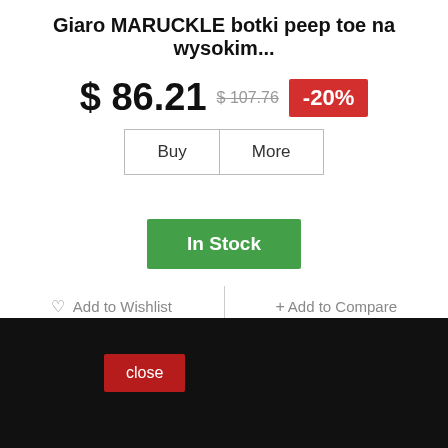Giaro MARUCKLE botki peep toe na wysokim...
$ 86.21  $ 107.76  -20%
Buy  More
In Stock
♡ Add to Wishlist   + Add to Compare
Compare (0) ›
close